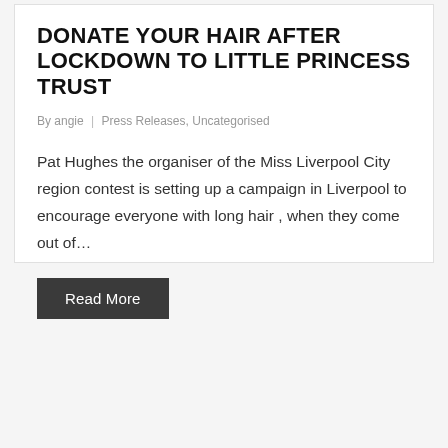DONATE YOUR HAIR AFTER LOCKDOWN TO LITTLE PRINCESS TRUST
By angie | Press Releases, Uncategorised
Pat Hughes the organiser of the Miss Liverpool City region contest is setting up a campaign in Liverpool to encourage everyone with long hair , when they come out of…
Read More